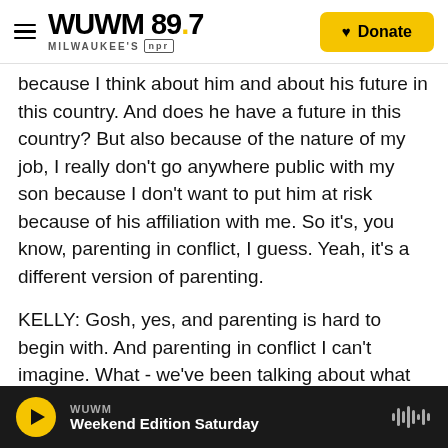WUWM 89.7 MILWAUKEE'S NPR | Donate
because I think about him and about his future in this country. And does he have a future in this country? But also because of the nature of my job, I really don't go anywhere public with my son because I don't want to put him at risk because of his affiliation with me. So it's, you know, parenting in conflict, I guess. Yeah, it's a different version of parenting.
KELLY: Gosh, yes, and parenting is hard to begin with. And parenting in conflict I can't imagine. What - we've been talking about what worries you. What gives you hope?
WUWM Weekend Edition Saturday